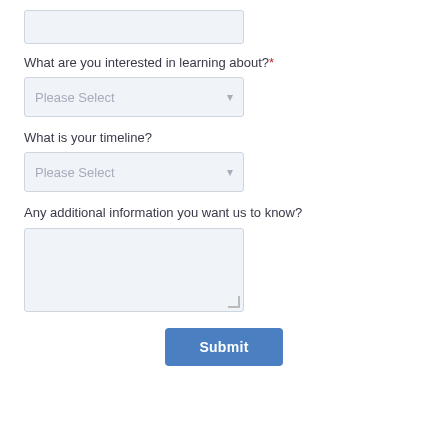[Figure (screenshot): A text input field (empty, light blue-gray background)]
What are you interested in learning about?*
[Figure (screenshot): A dropdown select input with placeholder text 'Please Select' and a down arrow]
What is your timeline?
[Figure (screenshot): A dropdown select input with placeholder text 'Please Select' and a down arrow]
Any additional information you want us to know?
[Figure (screenshot): A multi-line textarea input (empty, light blue-gray background) with resize handle]
[Figure (screenshot): A blue Submit button]